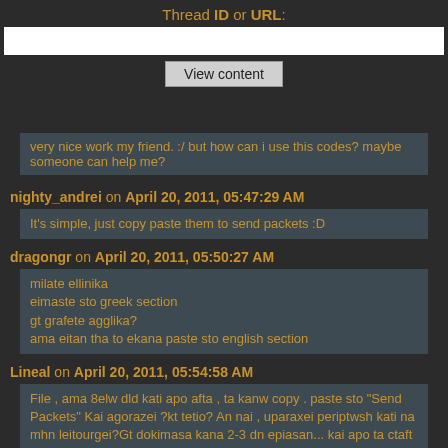Thread ID or URL:
very nice work my friend. :/ but how can i use this codes? maybe someone can help me?
nighty_andrei on April 20, 2011, 05:47:29 AM
It's simple, just copy paste them to send packets :D
dragongr on April 20, 2011, 05:50:27 AM
milate ellinika
eimaste sto greek section
gt grafete agglika?
ama eitan tha to ekana paste sto english section
Lineal on April 20, 2011, 05:54:58 AM
File , ama 8elw dld kati apo afta , ta kanw copy . paste sto "Send Packets" Kai agorazei ?kt tetio? An nai , uparaxei periptwsh kati na mhn leitourgei?Gt dokimasa kana 2-3 dn epiasan... kai apo ta ctaft